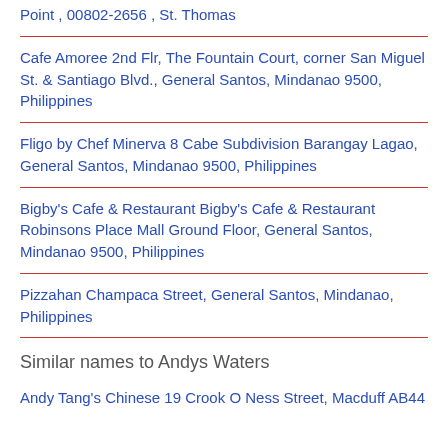Point , 00802-2656 , St. Thomas
Cafe Amoree 2nd Flr, The Fountain Court, corner San Miguel St. & Santiago Blvd., General Santos, Mindanao 9500, Philippines
Fligo by Chef Minerva 8 Cabe Subdivision Barangay Lagao, General Santos, Mindanao 9500, Philippines
Bigby's Cafe & Restaurant Bigby's Cafe & Restaurant Robinsons Place Mall Ground Floor, General Santos, Mindanao 9500, Philippines
Pizzahan Champaca Street, General Santos, Mindanao, Philippines
Similar names to Andys Waters
Andy Tang's Chinese  19 Crook O Ness Street, Macduff AB44